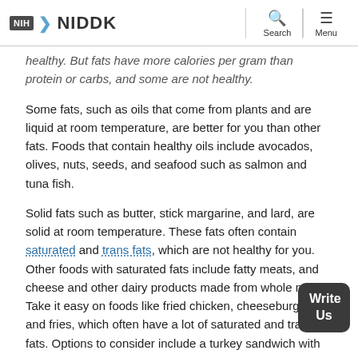NIH NIDDK | Search | Menu
healthy. But fats have more calories per gram than protein or carbs, and some are not healthy.
Some fats, such as oils that come from plants and are liquid at room temperature, are better for you than other fats. Foods that contain healthy oils include avocados, olives, nuts, seeds, and seafood such as salmon and tuna fish.
Solid fats such as butter, stick margarine, and lard, are solid at room temperature. These fats often contain saturated and trans fats, which are not healthy for you. Other foods with saturated fats include fatty meats, and cheese and other dairy products made from whole milk. Take it easy on foods like fried chicken, cheeseburgers, and fries, which often have a lot of saturated and trans fats. Options to consider include a turkey sandwich with